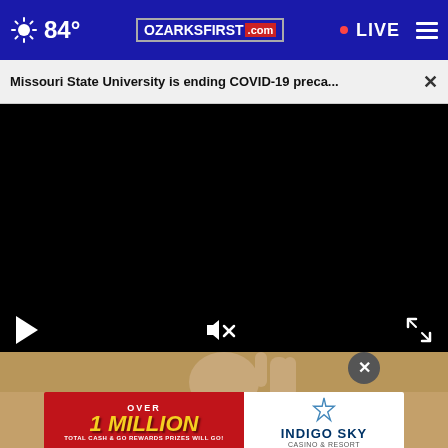84° OZARKSFIRST.com • LIVE
Missouri State University is ending COVID-19 preca... ×
[Figure (screenshot): Black video player area with play button, mute icon, and fullscreen expand icon at bottom corners]
[Figure (photo): Person raising hand, seen from chin up, against brownish background]
[Figure (infographic): Indigo Sky Casino & Resort advertisement banner: red left side with 'OVER 1 MILLION TOTAL CASH & GO REWARDS PRIZES WILL GO!' text, white right side with Indigo Sky Casino & Resort logo and star]